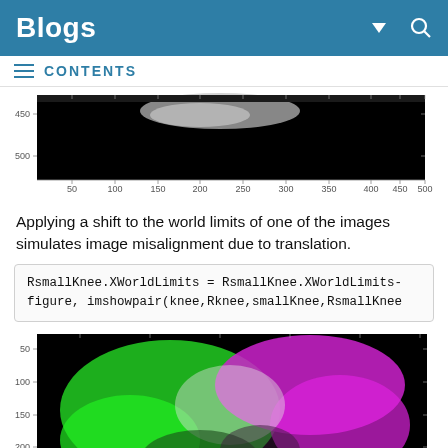Blogs
CONTENTS
[Figure (other): Grayscale MRI knee image with axis tick marks, x-axis from 50 to 500, y-axis showing 450 and 500]
Applying a shift to the world limits of one of the images simulates image misalignment due to translation.
RsmallKnee.XWorldLimits = RsmallKnee.XWorldLimits-
figure, imshowpair(knee,Rknee,smallKnee,RsmallKnee
[Figure (other): Color-overlay MRI knee image (green and magenta channels) showing image misalignment, with y-axis ticks at 50, 100, 150, 200, 250]